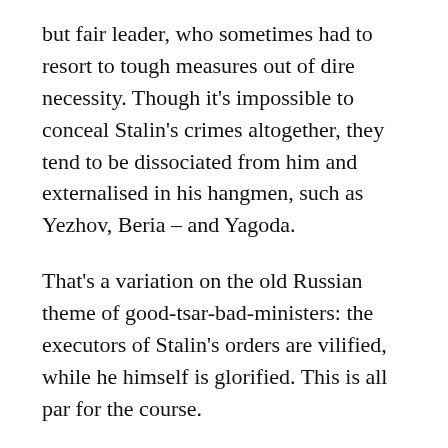but fair leader, who sometimes had to resort to tough measures out of dire necessity. Though it's impossible to conceal Stalin's crimes altogether, they tend to be dissociated from him and externalised in his hangmen, such as Yezhov, Beria – and Yagoda.
That's a variation on the old Russian theme of good-tsar-bad-ministers: the executors of Stalin's orders are vilified, while he himself is glorified. This is all par for the course.
But the prominent display of a Yagoda portrait at a Moscow police station signals a new development: it's not just the Butcher-In-Chief but also his junior butchers who are now